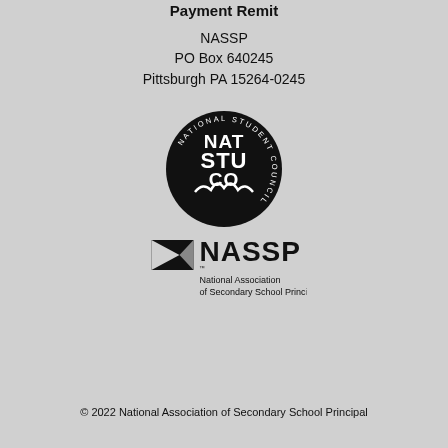Payment Remit
NASSP
PO Box 640245
Pittsburgh PA 15264-0245
[Figure (logo): National Student Council (NatStuCo) circular logo with 'NAT STU CO' text and 'NATIONAL STUDENT COUNCIL' around the edge]
[Figure (logo): NASSP logo with chevron icon and text 'NASSP National Association of Secondary School Principals']
© 2022 National Association of Secondary School Principal